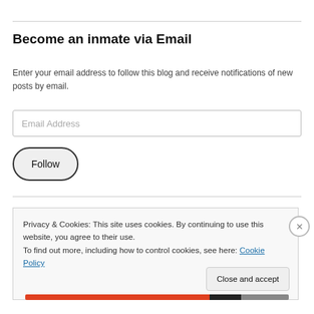Become an inmate via Email
Enter your email address to follow this blog and receive notifications of new posts by email.
Email Address
Follow
Privacy & Cookies: This site uses cookies. By continuing to use this website, you agree to their use.
To find out more, including how to control cookies, see here: Cookie Policy
Close and accept